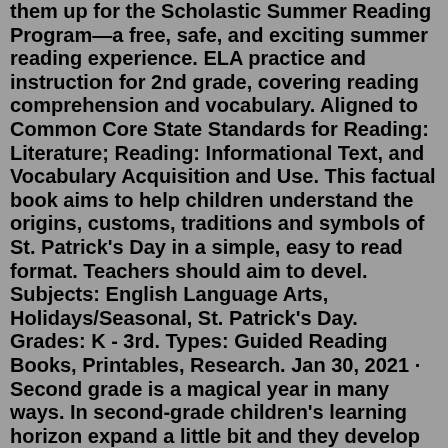them up for the Scholastic Summer Reading Program—a free, safe, and exciting summer reading experience. ELA practice and instruction for 2nd grade, covering reading comprehension and vocabulary. Aligned to Common Core State Standards for Reading: Literature; Reading: Informational Text, and Vocabulary Acquisition and Use. This factual book aims to help children understand the origins, customs, traditions and symbols of St. Patrick's Day in a simple, easy to read format. Teachers should aim to devel. Subjects: English Language Arts, Holidays/Seasonal, St. Patrick's Day. Grades: K - 3rd. Types: Guided Reading Books, Printables, Research. Jan 30, 2021 · Second grade is a magical year in many ways. In second-grade children's learning horizon expand a little bit and they develop reading fluency. They are ready to move from easy reader books into early chapter books. If you are wondering which are the books that could inspire a reader in your kids, here is a list of some books they will enjoy. Second grade